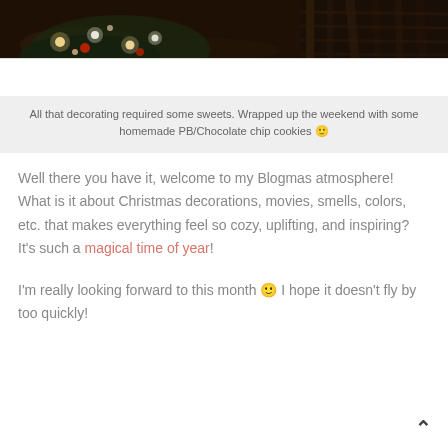[Figure (photo): Partial view of a Christmas tree with lights and decorations against a dark background, cropped at top of page]
All that decorating required some sweets. Wrapped up the weekend with some homemade PB/Chocolate chip cookies 🙂
Well there you have it, welcome to my Blogmas atmosphere! What is it about Christmas decorations, movies, smells, colors, etc. that makes everything feel so cozy, uplifting, and inspiring? It's such a magical time of year!
I'm really looking forward to this month 🙂 I hope it doesn't fly by too quickly!